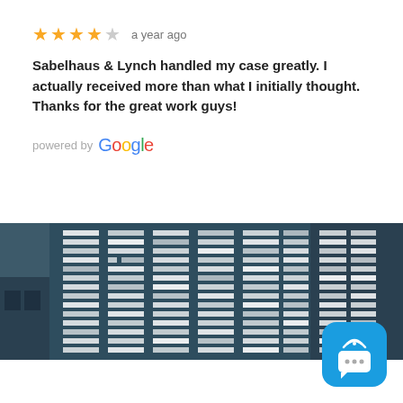★★★★☆  a year ago
Sabelhaus & Lynch handled my case greatly. I actually received more than what I initially thought. Thanks for the great work guys!
powered by Google
[Figure (photo): Dark teal/blue-gray photo of a building exterior at night, showing illuminated windows creating a grid pattern against the dark facade.]
[Figure (other): Blue rounded square chat widget icon with wifi/broadcast symbol at top and speech bubble with three dots below.]